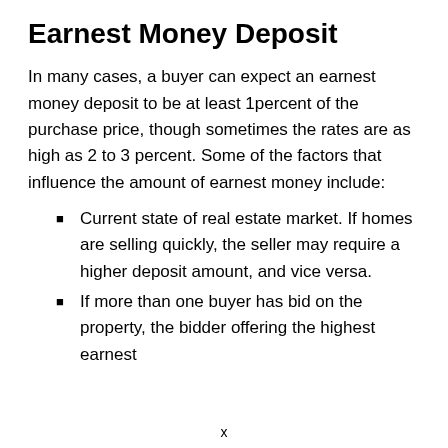Earnest Money Deposit
In many cases, a buyer can expect an earnest money deposit to be at least 1percent of the purchase price, though sometimes the rates are as high as 2 to 3 percent. Some of the factors that influence the amount of earnest money include:
Current state of real estate market. If homes are selling quickly, the seller may require a higher deposit amount, and vice versa.
If more than one buyer has bid on the property, the bidder offering the highest earnest